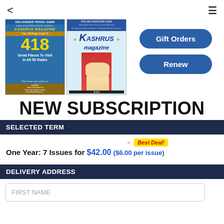< ≡
[Figure (photo): Two Kashrus Magazine covers side by side: left cover shows 2021 Kosher Travel Guide with '418 Great Places To Visit In All 50 States', right cover shows 5781-2021 Passover Guide with a child eating matzah]
Gift Orders
Renew
NEW SUBSCRIPTION
SELECTED TERM
One Year: 7 Issues for $42.00 ($6.00 per issue) ← Best Deal!
DELIVERY ADDRESS
FIRST NAME